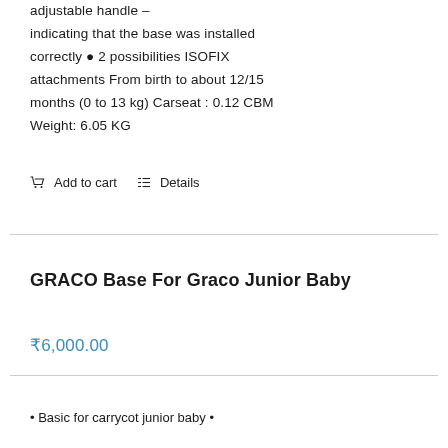adjustable handle – indicating that the base was installed correctly • 2 possibilities ISOFIX attachments From birth to about 12/15 months (0 to 13 kg) Carseat : 0.12 CBM Weight: 6.05 KG
Add to cart
Details
GRACO Base For Graco Junior Baby
₹6,000.00
• Basic for carrycot junior baby •